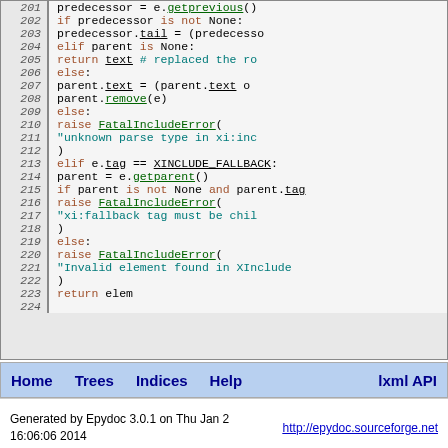[Figure (screenshot): Source code listing lines 201-224 of Python code showing XML include processing logic with syntax highlighting. Line numbers in left column, code in right column with keywords in brown, function names in green with underline, strings/comments in teal.]
Home  Trees  Indices  Help  lxml API
Generated by Epydoc 3.0.1 on Thu Jan 2 16:06:06 2014   http://epydoc.sourceforge.net